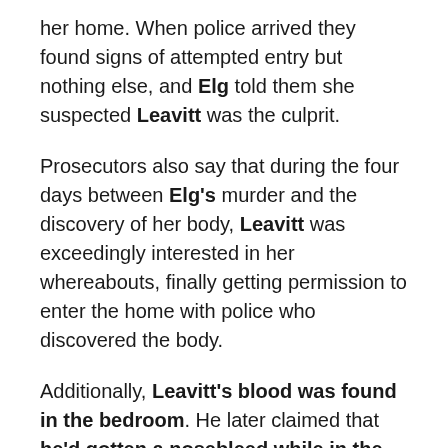her home. When police arrived they found signs of attempted entry but nothing else, and Elg told them she suspected Leavitt was the culprit.
Prosecutors also say that during the four days between Elg's murder and the discovery of her body, Leavitt was exceedingly interested in her whereabouts, finally getting permission to enter the home with police who discovered the body.
Additionally, Leavitt's blood was found in the bedroom. He later claimed that he'd gotten a nosebleed while in the room several days before Elg's death.
And prosecutors claimed that one of the strangest elements of the murder — that Elg's internal sexual organs were removed in a way that would be difficult to accomplish without some knowledge of anatomy...